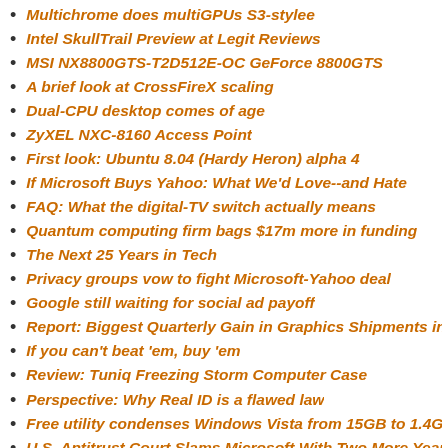Multichrome does multiGPUs S3-stylee
Intel SkullTrail Preview at Legit Reviews
MSI NX8800GTS-T2D512E-OC GeForce 8800GTS
A brief look at CrossFireX scaling
Dual-CPU desktop comes of age
ZyXEL NXC-8160 Access Point
First look: Ubuntu 8.04 (Hardy Heron) alpha 4
If Microsoft Buys Yahoo: What We'd Love--and Hate
FAQ: What the digital-TV switch actually means
Quantum computing firm bags $17m more in funding
The Next 25 Years in Tech
Privacy groups vow to fight Microsoft-Yahoo deal
Google still waiting for social ad payoff
Report: Biggest Quarterly Gain in Graphics Shipments in Six Y
If you can't beat 'em, buy 'em
Review: Tuniq Freezing Storm Computer Case
Perspective: Why Real ID is a flawed law
Free utility condenses Windows Vista from 15GB to 1.4GB
U.S. Antitrust Court Slams Microsoft With Two More Years of O
Egypt says lay off music, movie downloads after 'Net outage
'Facebook fatigue' kicks in as people tire of social networks
KillerNIC: a statistical analysis
How to Get Windows XP After June 30
New attack proves critical Windows bug 'highly exploitable'
Magistrate judge suggests sanctions against RIAA lawyers
ASUS Extends Eee Branding to Desktops, AIOs, LCD TVs